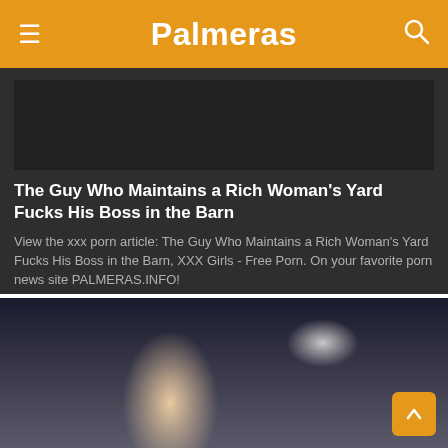Palmeras
The Guy Who Maintains a Rich Woman's Yard Fucks His Boss in the Barn
View the xxx porn article: The Guy Who Maintains a Rich Woman's Yard Fucks His Boss in the Barn, XXX Girls - Free Porn. On your favorite porn news site PALMERAS.INFO!
2 Views · Likes 0
[Figure (photo): Thumbnail image for the article]